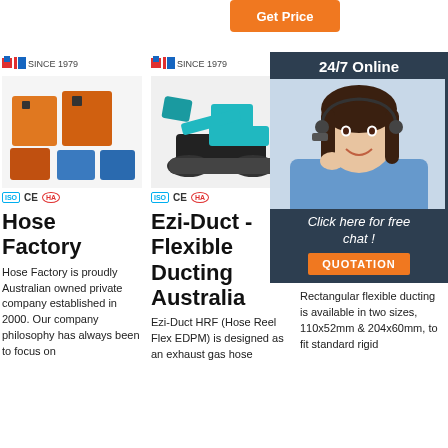[Figure (screenshot): Orange 'Get Price' button partially visible at top right]
[Figure (logo): MLC Since 1979 logo for column 1]
[Figure (photo): Industrial equipment / hose factory machines in orange color]
[Figure (logo): MLC Since 1979 logo for column 2]
[Figure (photo): Teal/blue mini excavator product photo]
[Figure (logo): MLC Since 1979 logo for column 3]
Hose Factory
Hose Factory is proudly Australian owned private company established in 2000. Our company philosophy has always been to focus on
Ezi-Duct - Flexible Ducting Australia
Ezi-Duct HRF (Hose Reel Flex EDPM) is designed as an exhaust gas hose
Flexible Ducting Australia
Rectangular flexible ducting is available in two sizes, 110x52mm & 204x60mm, to fit standard rigid
[Figure (infographic): 24/7 Online chat widget overlay with woman headset photo, 'Click here for free chat!' text and orange QUOTATION button]